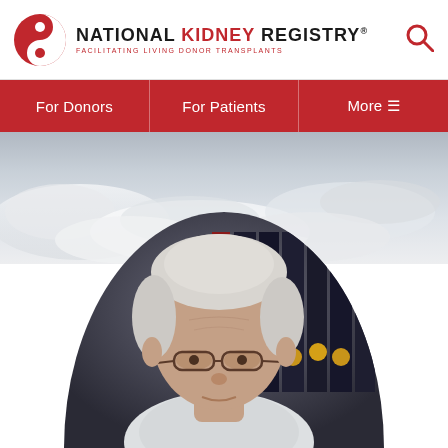National Kidney Registry® — Facilitating Living Donor Transplants
For Donors | For Patients | More
[Figure (photo): Hero banner with overcast sky/clouds background]
[Figure (photo): Circular portrait photo of an elderly man with white hair and glasses, seated in front of a bookshelf with dark-bound volumes and medallions]